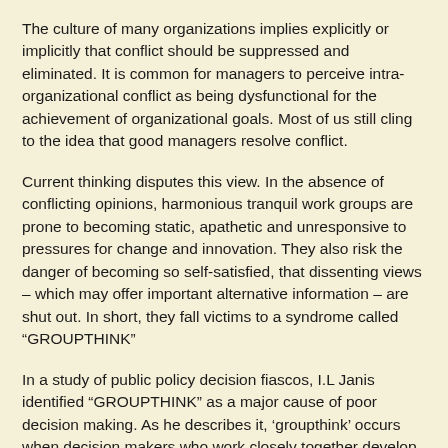The culture of many organizations implies explicitly or implicitly that conflict should be suppressed and eliminated. It is common for managers to perceive intra-organizational conflict as being dysfunctional for the achievement of organizational goals. Most of us still cling to the idea that good managers resolve conflict.
Current thinking disputes this view. In the absence of conflicting opinions, harmonious tranquil work groups are prone to becoming static, apathetic and unresponsive to pressures for change and innovation. They also risk the danger of becoming so self-satisfied, that dissenting views – which may offer important alternative information – are shut out. In short, they fall victims to a syndrome called “GROUPTHINK”
In a study of public policy decision fiascos, I.L Janis identified “GROUPTHINK” as a major cause of poor decision making. As he describes it, ‘groupthink’ occurs when decision makers who work closely together develop a high degree of solidarity that clouds their vision, leading them to suppress conflicting views and competing feelings about...